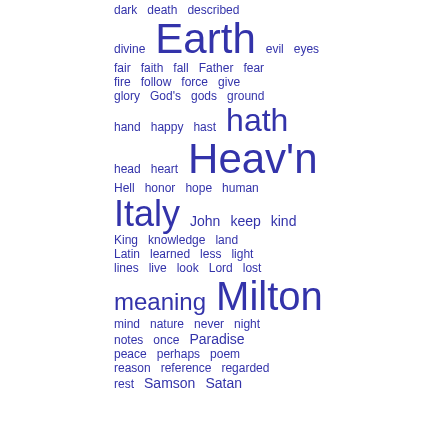[Figure (infographic): Word cloud / tag cloud showing index terms in blue, with size proportional to frequency. Terms visible: dark, death, described, divine, Earth, evil, eyes, fair, faith, fall, Father, fear, fire, follow, force, give, glory, God's, gods, ground, hand, happy, hast, hath, head, heart, Heav'n, Hell, honor, hope, human, Italy, John, keep, kind, King, knowledge, land, Latin, learned, less, light, lines, live, look, Lord, lost, meaning, Milton, mind, nature, never, night, notes, once, Paradise, peace, perhaps, poem, reason, reference, regarded, rest, Samson, Satan]